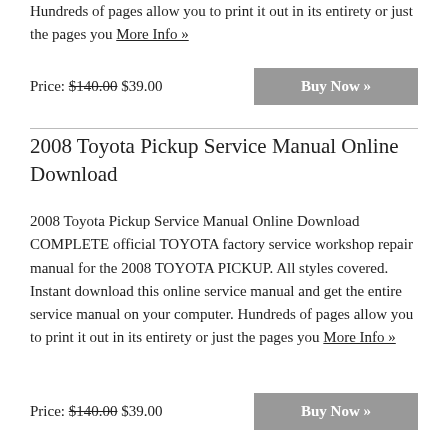Hundreds of pages allow you to print it out in its entirety or just the pages you More Info »
Price: $140.00 $39.00
2008 Toyota Pickup Service Manual Online Download
2008 Toyota Pickup Service Manual Online Download COMPLETE official TOYOTA factory service workshop repair manual for the 2008 TOYOTA PICKUP. All styles covered. Instant download this online service manual and get the entire service manual on your computer. Hundreds of pages allow you to print it out in its entirety or just the pages you More Info »
Price: $140.00 $39.00